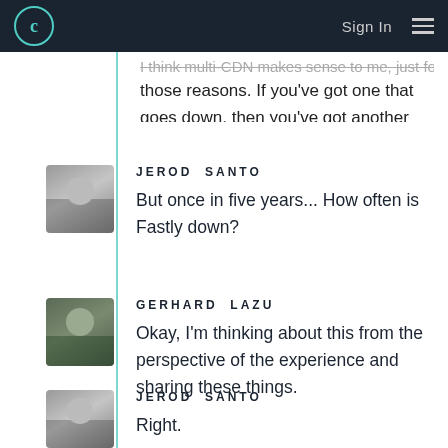C | Sign In ☰
I think multi-CDN makes sense to me, just for those reasons. If you've got one that goes down, then you've got another resolver.
JEROD SANTO
But once in five years... How often is Fastly down?
GERHARD LAZU
Okay, I'm thinking about this from the perspective of the experience and sharing these things.
JEROD SANTO
Right.